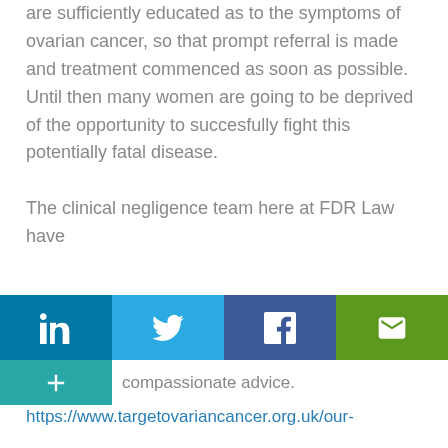are sufficiently educated as to the symptoms of ovarian cancer, so that prompt referral is made and treatment commenced as soon as possible. Until then many women are going to be deprived of the opportunity to succesfully fight this potentially fatal disease.
The clinical negligence team here at FDR Law have high levels of skill and can offer you compassionate advice.
[Figure (infographic): Social media sharing bar with LinkedIn, Twitter, Facebook, Email buttons (top row) and a plus/more button (bottom left)]
https://www.targetovariancancer.org.uk/our-